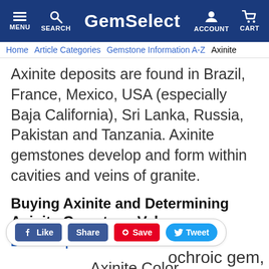GemSelect — MENU SEARCH ACCOUNT CART
Home / Article Categories / Gemstone Information A-Z / Axinite
Axinite deposits are found in Brazil, France, Mexico, USA (especially Baja California), Sri Lanka, Russia, Pakistan and Tanzania. Axinite gemstones develop and form within cavities and veins of granite.
Buying Axinite and Determining Axinite Gemstone Value
Back to Top
Axinite Color
[Figure (screenshot): Social sharing buttons: Like, Share, Save (Pinterest), Tweet]
ochroic gem,